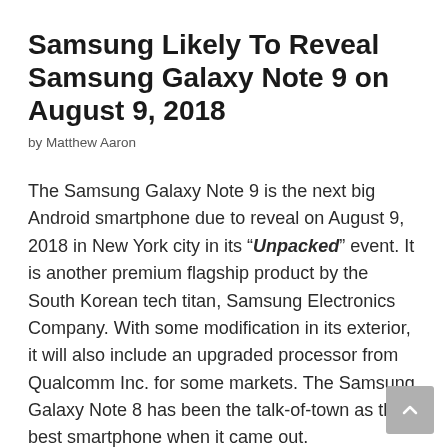Samsung Likely To Reveal Samsung Galaxy Note 9 on August 9, 2018
by Matthew Aaron
The Samsung Galaxy Note 9 is the next big Android smartphone due to reveal on August 9, 2018 in New York city in its “Unpacked” event. It is another premium flagship product by the South Korean tech titan, Samsung Electronics Company. With some modification in its exterior, it will also include an upgraded processor from Qualcomm Inc. for some markets. The Samsung Galaxy Note 8 has been the talk-of-town as the best smartphone when it came out.